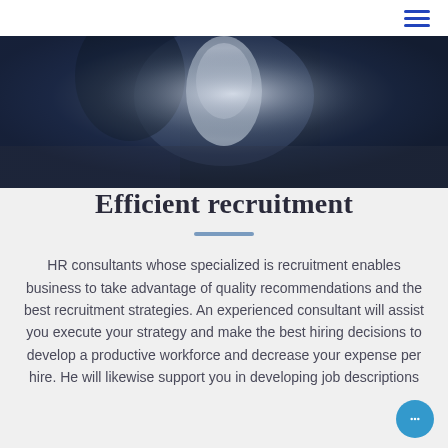[Figure (photo): Dark close-up photo of two people shaking hands or a business interaction, with blurred dark blue/navy background tones and a light center highlight.]
Efficient recruitment
HR consultants whose specialized is recruitment enables business to take advantage of quality recommendations and the best recruitment strategies. An experienced consultant will assist you execute your strategy and make the best hiring decisions to develop a productive workforce and decrease your expense per hire. He will likewise support you in developing job descriptions...